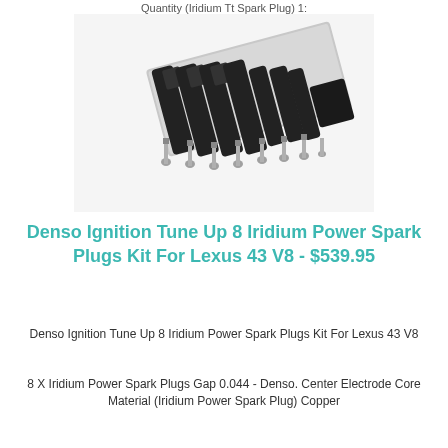Quantity (Iridium Tt Spark Plug) 1:
[Figure (photo): Product photo showing a set of ignition coils and iridium spark plugs arranged together for a Lexus V8 engine tune-up kit]
Denso Ignition Tune Up 8 Iridium Power Spark Plugs Kit For Lexus 43 V8 - $539.95
Denso Ignition Tune Up 8 Iridium Power Spark Plugs Kit For Lexus 43 V8
8 X Iridium Power Spark Plugs Gap 0.044 - Denso. Center Electrode Core Material (Iridium Power Spark Plug) Copper